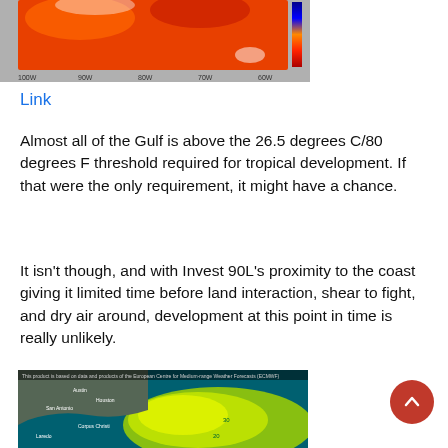[Figure (map): Weather map showing Gulf of Mexico sea surface temperatures in warm orange/red tones with a color scale bar on the right side.]
Link
Almost all of the Gulf is above the 26.5 degrees C/80 degrees F threshold required for tropical development. If that were the only requirement, it might have a chance.
It isn’t though, and with Invest 90L’s proximity to the coast giving it limited time before land interaction, shear to fight, and dry air around, development at this point in time is really unlikely.
[Figure (map): European Centre for Medium-Range Weather Forecasts (ECMWF) map showing wind shear over the Gulf of Mexico region with green and yellow shading, featuring cities like Houston, San Antonio, Corpus Christi, and Laredo.]